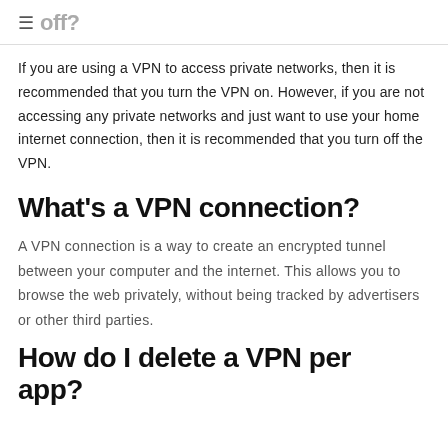≡ off?
If you are using a VPN to access private networks, then it is recommended that you turn the VPN on. However, if you are not accessing any private networks and just want to use your home internet connection, then it is recommended that you turn off the VPN.
What's a VPN connection?
A VPN connection is a way to create an encrypted tunnel between your computer and the internet. This allows you to browse the web privately, without being tracked by advertisers or other third parties.
How do I delete a VPN per app?